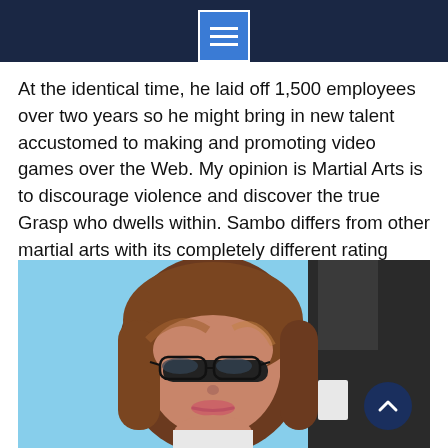At the identical time, he laid off 1,500 employees over two years so he might bring in new talent accustomed to making and promoting video games over the Web. My opinion is Martial Arts is to discourage violence and discover the true Grasp who dwells within. Sambo differs from other martial arts with its completely different rating system.
[Figure (photo): Close-up photograph of a middle-aged woman with brown bobbed hair and glasses, looking seriously at the camera. A blue background and another person in a suit are partially visible behind her.]